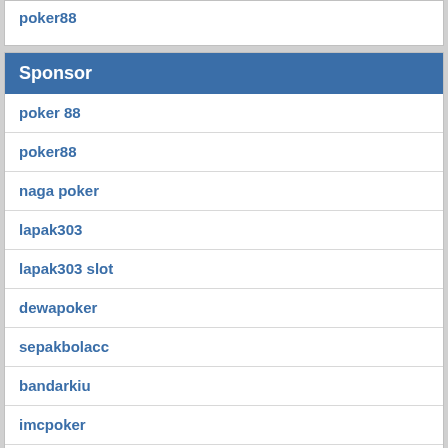poker88
Sponsor
poker 88
poker88
naga poker
lapak303
lapak303 slot
dewapoker
sepakbolacc
bandarkiu
imcpoker
jasapoker
remi poker
texaspokercc